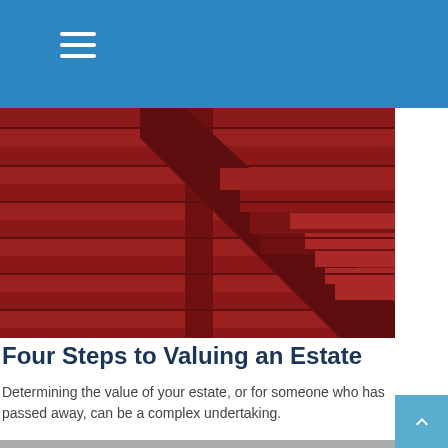[Figure (photo): Red barn siding with horizontal wooden planks and angled roof beams in dark red/maroon color]
Four Steps to Valuing an Estate
Determining the value of your estate, or for someone who has passed away, can be a complex undertaking.
[Figure (photo): Person holding a tablet showing a screen titled 'Estimating Your Estate Taxes' with 'QUICK FORMULA' and '$7,500,000 GROSS VALUE' text visible]